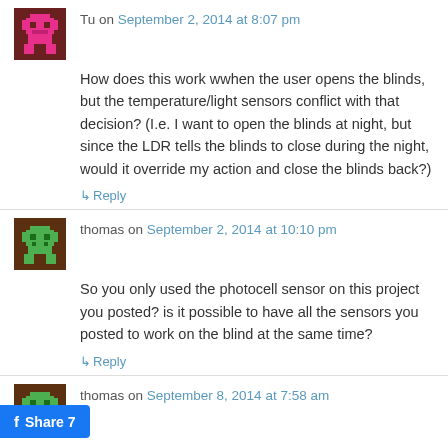Tu on September 2, 2014 at 8:07 pm
How does this work wwhen the user opens the blinds, but the temperature/light sensors conflict with that decision? (I.e. I want to open the blinds at night, but since the LDR tells the blinds to close during the night, would it override my action and close the blinds back?)
↳ Reply
thomas on September 2, 2014 at 10:10 pm
So you only used the photocell sensor on this project you posted? is it possible to have all the sensors you posted to work on the blind at the same time?
↳ Reply
thomas on September 8, 2014 at 7:58 am
Can you send me the code for the temp sensor please? I am trying to add it.